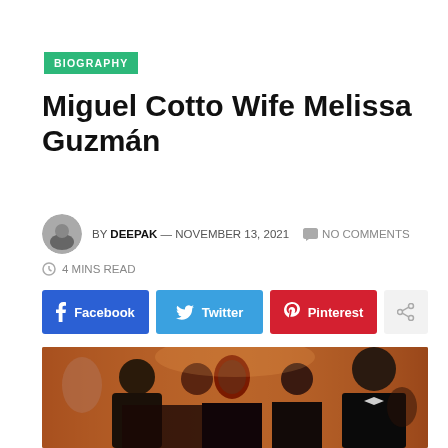BIOGRAPHY
Miguel Cotto Wife Melissa Guzmán
BY DEEPAK — NOVEMBER 13, 2021  NO COMMENTS  4 MINS READ
[Figure (infographic): Social share buttons: Facebook, Twitter, Pinterest, and a share icon button]
[Figure (photo): Group photo of several people at a formal event, including a bald man in a suit and a tall man in a tuxedo]